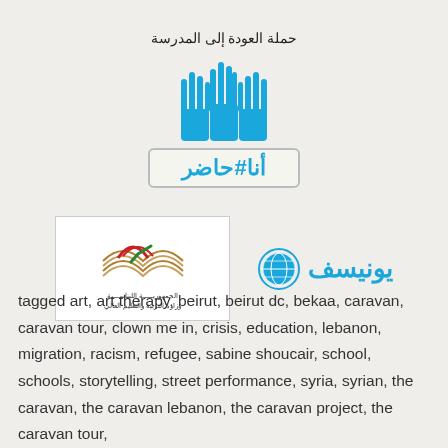حملة العودة إلى المدرسة
[Figure (logo): Blue hands raised logo with Arabic text '#أنا_حاضر' (Ana Hazir / I am Present) campaign logo, with a button/banner design]
[Figure (logo): Two logos side by side: Lebanese Republic Ministry of Education and Higher Education logo on the left (book with Lebanese cedar flag design), and UNICEF Arabic logo (يونيسف) with globe icon on the right]
tagged art, art therapy, beirut, beirut dc, bekaa, caravan, caravan tour, clown me in, crisis, education, lebanon, migration, racism, refugee, sabine shoucair, school, schools, storytelling, street performance, syria, syrian, the caravan, the caravan lebanon, the caravan project, the caravan tour,